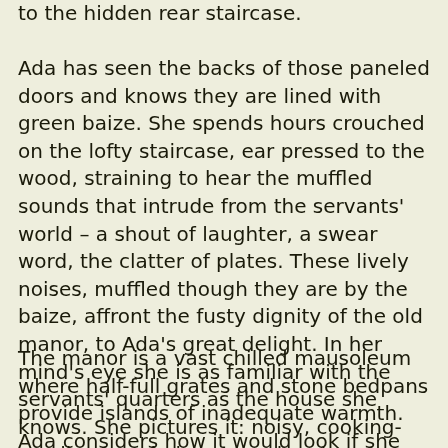to the hidden rear staircase.
Ada has seen the backs of those paneled doors and knows they are lined with green baize. She spends hours crouched on the lofty staircase, ear pressed to the wood, straining to hear the muffled sounds that intrude from the servants’ world – a shout of laughter, a swear word, the clatter of plates. These lively noises, muffled though they are by the baize, affront the fusty dignity of the old manor, to Ada’s great delight. In her mind’s eye she is as familiar with the servants’ quarters as the house she knows. She pictures it: noisy, cooking-smelly, crowded, cramped and cosy. A hearth-warmed cottage built up to the eaves of her home.
The manor is a vast chilled mausoleum where half-full grates and stone bedpans provide islands of inadequate warmth. Ada considers how it would look if she could view it through the eyes of a snake – the rooms seen as empty gaps like ceilings over each the interior of a home